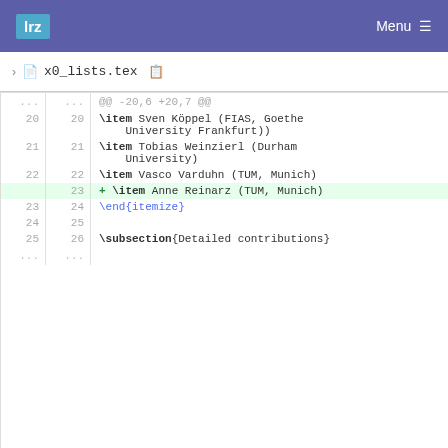lrz  Menu
x0_lists.tex
[Figure (screenshot): Git diff view showing changes to x0_lists.tex. Lines 20-25 (old) and 20-26 (new) shown. Added line: \item Anne Reinarz (TUM, Munich) at line 23. Context lines include \item Sven Köppel, \item Tobias Weinzierl, \item Vasco Varduhn, \end{itemize}, and \subsection{Detailed contributions}.]
Please register or sign in to comment